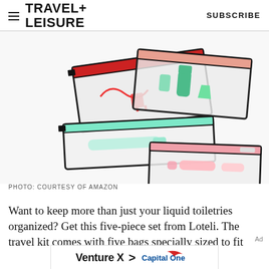TRAVEL+ LEISURE | SUBSCRIBE
[Figure (photo): Five clear travel pouches with colorful zippers (red, peach/pink, green/teal) arranged overlapping on a white background, containing various travel items like a charger cable, toiletries, and small accessories.]
PHOTO: COURTESY OF AMAZON
Want to keep more than just your liquid toiletries organized? Get this five-piece set from Loteli. The travel kit comes with five bags specially sized to fit
[Figure (other): Advertisement banner: Venture X > Capital One]